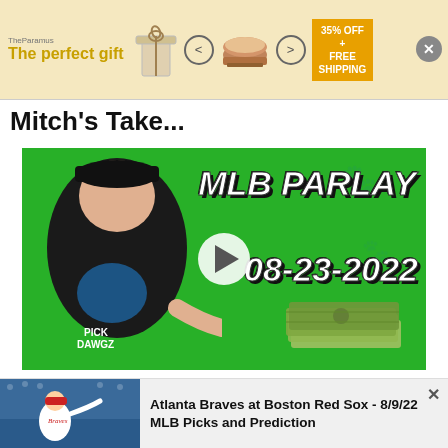[Figure (screenshot): Advertisement banner: 'The perfect gift' with gift box icons, navigation arrows, a bowl image, and a '35% OFF + FREE SHIPPING' promo badge on gold background]
Mitch's Take...
[Figure (screenshot): Video thumbnail showing a man in a black PICK DAWGZ t-shirt against green background with text 'MLB PARLAY 08-23-2022' and a white play button in the center, with cash/money illustration in lower right]
Atlanta Braves at Boston Red Sox - 8/9/22 MLB Picks and Prediction